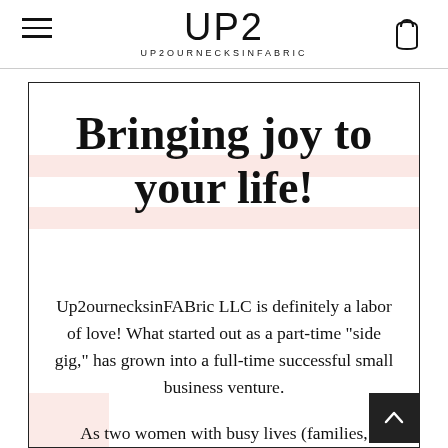UP2 UP2OURNECKSINFABRIC
Bringing joy to your life!
Up2ournecksinFABric LLC is definitely a labor of love! What started out as a part-time "side gig," has grown into a full-time successful small business venture.
As two women with busy lives (families, spouses, jobs, hobbies, households to run),